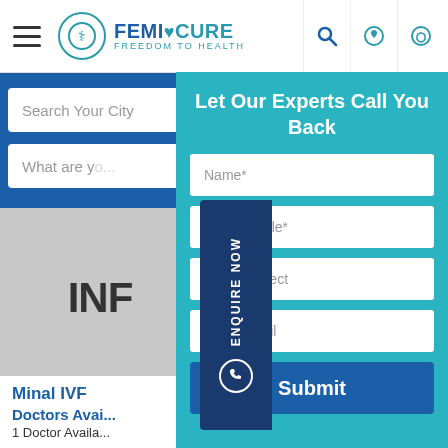FEMICURE - Freedom To Health
Search Your City
What are you
ENQUIRE NOW
INF
Minal IVF
Doctors Available
1 Doctor Available
Let Our Experts Call You Back
Name*
Enter Mobile*
Enter Subject
Enter Email
Submit